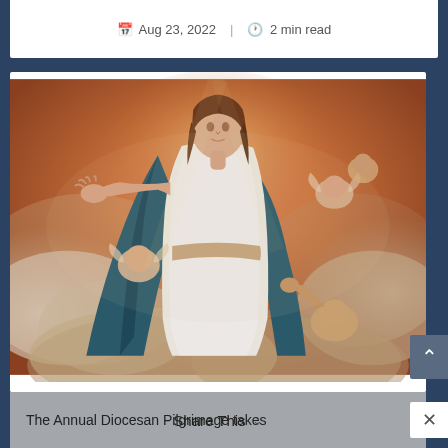Aug 23, 2022 | 2 min read
[Figure (illustration): Baroque painting of the Assumption of the Virgin Mary, depicted in white robes and teal blue mantle, rising heavenward with arms outstretched, surrounded by cherubs and angels against a warm golden-orange sky with clouds.]
Diocesan Assumption Pilgrimage
The Annual Diocesan Pilgrimage takes